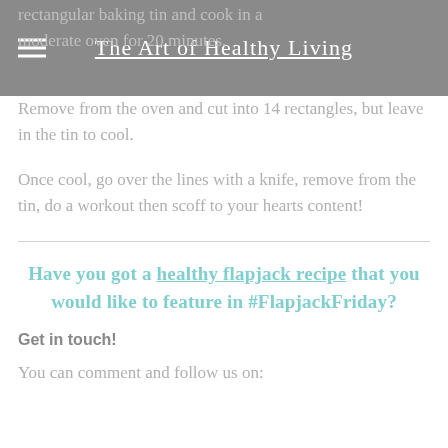The Art of Healthy Living
rectangular baking tin and cook in a moderate oven for 20 minutes.
Remove from the oven and cut into 14 rectangles, but leave in the tin to cool.
Once cool, go over the lines with a knife, remove from the tin, do a workout then scoff to your hearts content!
Have you got a healthy flapjack recipe that you would like to feature in #FlapjackFriday?
Get in touch!
You can comment and follow us on: